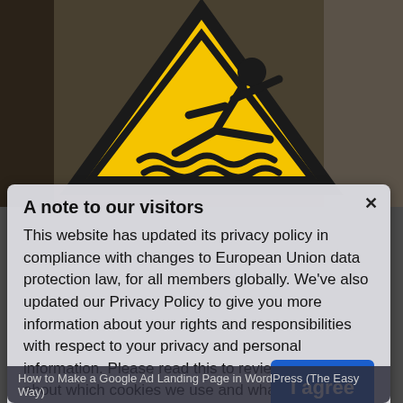[Figure (photo): Yellow triangular warning sign showing a person slipping/falling, mounted outdoors against a dark background. The sign has a black border and depicts a stick figure falling with wavy lines beneath.]
A note to our visitors
This website has updated its privacy policy in compliance with changes to European Union data protection law, for all members globally. We've also updated our Privacy Policy to give you more information about your rights and responsibilities with respect to your privacy and personal information. Please read this to review the updates about which cookies we use and what information we collect on our site. By continuing to use this site, you are agreeing to our updated privacy policy.
I agree
How to Make a Google Ad Landing Page in WordPress (The Easy Way)